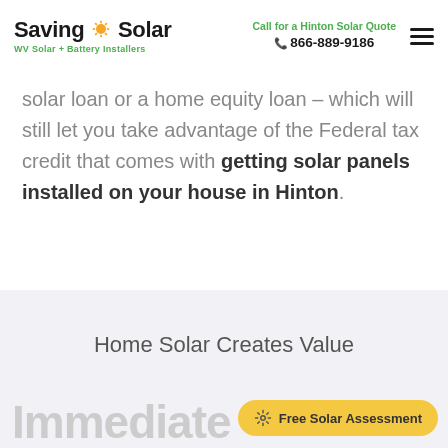SavingOnSolar — WV Solar + Battery Installers | Call for a Hinton Solar Quote | 866-889-9186
solar loan or a home equity loan – which will still let you take advantage of the Federal tax credit that comes with getting solar panels installed on your house in Hinton.
Home Solar Creates Value
Immediate